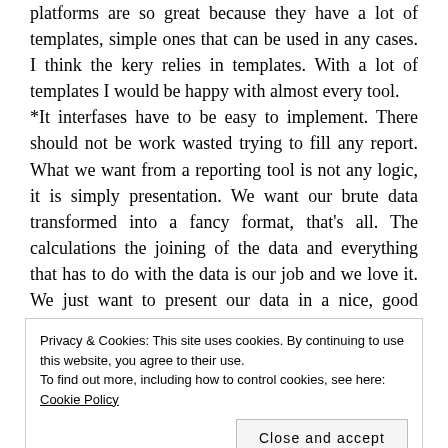platforms are so great because they have a lot of templates, simple ones that can be used in any cases. I think the kery relies in templates. With a lot of templates I would be happy with almost every tool. *It interfases have to be easy to implement. There should not be work wasted trying to fill any report. What we want from a reporting tool is not any logic, it is simply presentation. We want our brute data transformed into a fancy format, that's all. The calculations the joining of the data and everything that has to do with the data is our job and we love it. We just want to present our data in a nice, good looking way. *Smart drag and drop. We wouldn't complaint much about doing reports if it would be an easy task. But we get
Privacy & Cookies: This site uses cookies. By continuing to use this website, you agree to their use. To find out more, including how to control cookies, see here: Cookie Policy
*Wizards. I know, some of us think that wizards are not